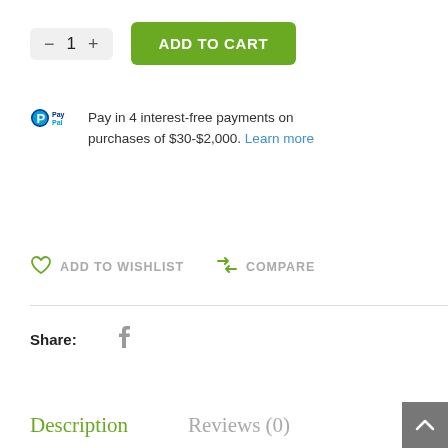[Figure (screenshot): Quantity selector with minus button, number 1, and plus button in a grey rounded box]
[Figure (screenshot): Green 'ADD TO CART' button]
PayPal Pay in 4 interest-free payments on purchases of $30-$2,000. Learn more
ADD TO WISHLIST   COMPARE
Share:
Description   Reviews (0)